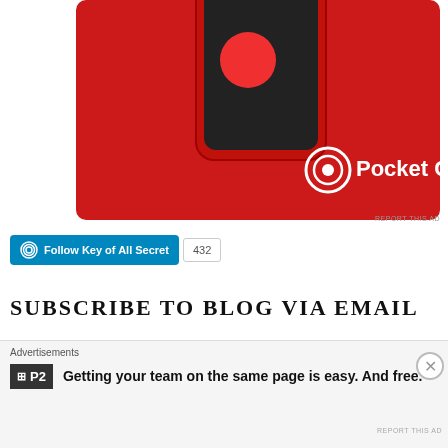[Figure (screenshot): Pocket Casts app advertisement showing a red smartphone and the Pocket Casts logo on a red background, with a 'REPORT THIS AD' link below]
[Figure (other): WordPress Follow button 'Follow Key of All Secret' with follower count 432]
SUBSCRIBE TO BLOG VIA EMAIL
Enter your email address to subscribe to this blog and receive notifications of new posts by email.
[Figure (screenshot): Email input field placeholder 'Enter your email address' and a dark SUBSCRIBE button below]
[Figure (screenshot): Advertisements banner at bottom with P2 WordPress ad: 'Getting your team on the same page is easy. And free.' with close button (X) and REPORT THIS AD link]